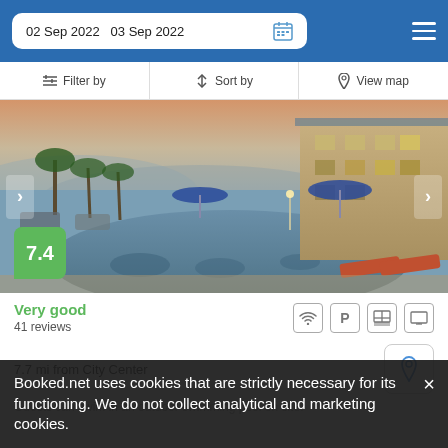02 Sep 2022   03 Sep 2022
Filter by   Sort by   View map
[Figure (photo): Hotel outdoor swimming pool at dusk with palm trees, blue umbrellas, lounge chairs, and a multi-story hotel building in the background. Score badge showing 7.4.]
Very good
41 reviews
7.7 mi from City Center
Guests can swim in an outdoor swimming pool on site.
Booked.net uses cookies that are strictly necessary for its functioning. We do not collect analytical and marketing cookies.
from US$ 68/night